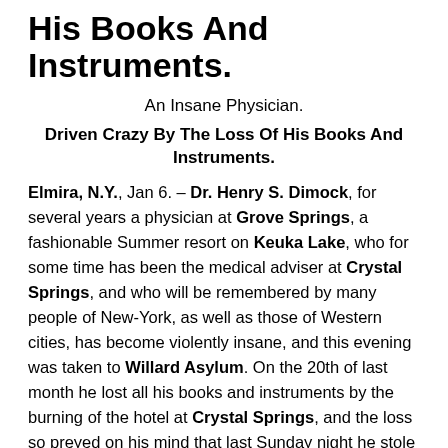His Books And Instruments.
An Insane Physician.
Driven Crazy By The Loss Of His Books And Instruments.
Elmira, N.Y., Jan 6. – Dr. Henry S. Dimock, for several years a physician at Grove Springs, a fashionable Summer resort on Keuka Lake, who for some time has been the medical adviser at Crystal Springs, and who will be remembered by many people of New-York, as well as those of Western cities, has become violently insane, and this evening was taken to Willard Asylum. On the 20th of last month he lost all his books and instruments by the burning of the hotel at Crystal Springs, and the loss so preyed on his mind that last Sunday night he stole a horse and carriage from Benson Smith, of Crystal Springs,